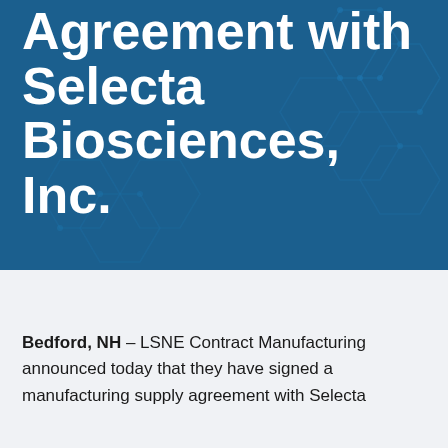[Figure (illustration): Dark blue hero banner background with molecular hexagon pattern overlay and large white bold title text reading 'Agreement with Selecta Biosciences, Inc.']
Agreement with Selecta Biosciences, Inc.
Bedford, NH – LSNE Contract Manufacturing announced today that they have signed a manufacturing supply agreement with Selecta